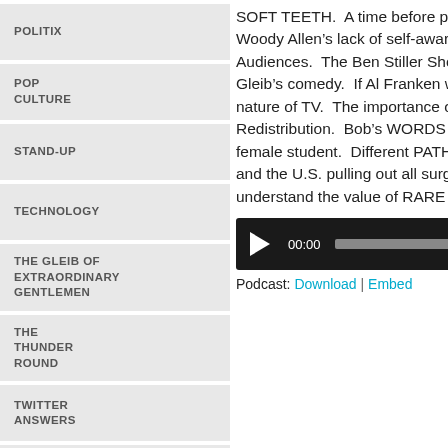POLITIX
POP CULTURE
STAND-UP
TECHNOLOGY
THE GLEIB OF EXTRAORDINARY GENTLEMEN
THE THUNDER ROUND
TWITTER ANSWERS
WEIRD
SOFT TEETH.  A time before podcasts.  Hal Clapp VS. The Soft Pack.  Woody Allen’s lack of self-awareness.  Mainstream VS. Niche Audiences.  The Ben Stiller Show.  How MR. SHOW greatly influenced Gleib’s comedy.  If Al Franken was always POLITICAL.  The short-lived nature of TV.  The importance of family.  Romney’s 47% VS. Obama’s Redistribution.  Bob’s WORDS are weird bit.  A Texas Principal spanks a female student.  Different PATHS in life.  The BEAUTY of Afghanistan and the U.S. pulling out all surge troops.  2 criminals who don’t understand the value of RARE COINS. And Bob’s hatred of Fiona Apple.
[Figure (other): Audio podcast player bar with play button, time display 00:00, progress track, and end time 00:00]
Podcast: Download | Embed